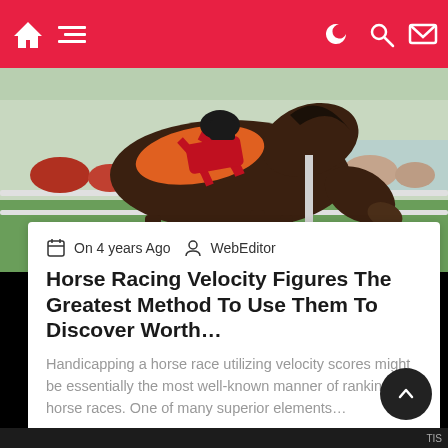Navigation bar with home icon, hamburger menu, moon/dark mode icon, search icon, mail icon
[Figure (photo): Close-up photo of a dark brown racehorse wearing an orange and red racing saddle and equipment, at a racetrack with green grass and white fence visible in the background]
On 4 years Ago  WebEditor
Horse Racing Velocity Figures The Greatest Method To Use Them To Discover Worth…
Handicapping a horse race utilizing velocity scores might be essentially the most well-known manner of ranking horse races. One of many superior elements…
Read More